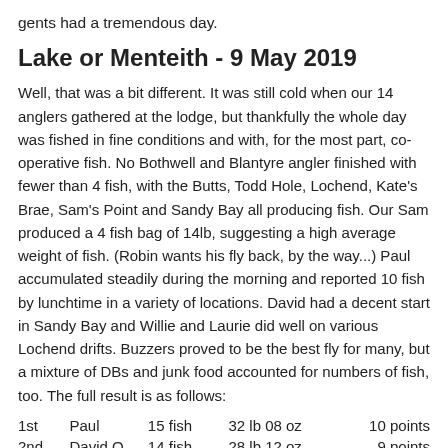gents had a tremendous day.
Lake or Menteith - 9 May 2019
Well, that was a bit different. It was still cold when our 14 anglers gathered at the lodge, but thankfully the whole day was fished in fine conditions and with, for the most part, co-operative fish. No Bothwell and Blantyre angler finished with fewer than 4 fish, with the Butts, Todd Hole, Lochend, Kate's Brae, Sam's Point and Sandy Bay all producing fish. Our Sam produced a 4 fish bag of 14lb, suggesting a high average weight of fish. (Robin wants his fly back, by the way...) Paul accumulated steadily during the morning and reported 10 fish by lunchtime in a variety of locations. David had a decent start in Sandy Bay and Willie and Laurie did well on various Lochend drifts. Buzzers proved to be the best fly for many, but a mixture of DBs and junk food accounted for numbers of fish, too. The full result is as follows:
| Place | Name | Fish | Weight | Points |
| --- | --- | --- | --- | --- |
| 1st | Paul | 15 fish | 32 lb 08 oz | 10 points |
| 2nd | David O | 14 fish | 28 lb 12 oz | 9 points |
| 3rd | Laurie | 13 fish | 25 lb 14 oz | 8 points |
| 4th= | Robin | 12 fish | 24 lb 00 oz | 6.5 points |
| 4th= | Sam | 9 fish | 24 lb 00 oz | 6.5 points |